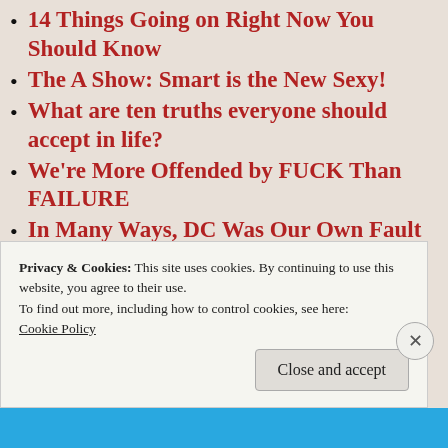14 Things Going on Right Now You Should Know
The A Show: Smart is the New Sexy!
What are ten truths everyone should accept in life?
We're More Offended by FUCK Than FAILURE
In Many Ways, DC Was Our Own Fault
Christ Was Never In Christmas. For Real.
Remember, Remember the Fifth of November
Privacy & Cookies: This site uses cookies. By continuing to use this website, you agree to their use.
To find out more, including how to control cookies, see here:
Cookie Policy

Close and accept